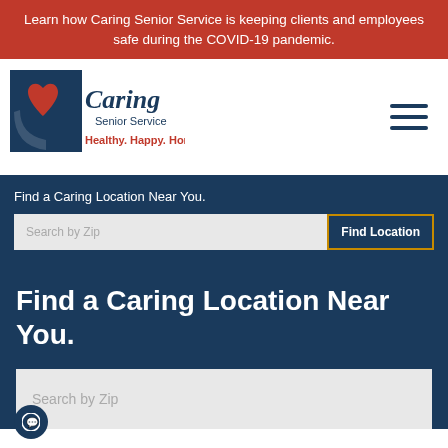Learn how Caring Senior Service is keeping clients and employees safe during the COVID-19 pandemic.
[Figure (logo): Caring Senior Service logo with red heart, blue background square, and tagline 'Healthy. Happy. Home.']
Find a Caring Location Near You.
Search by Zip
Find Location
Find a Caring Location Near You.
Search by Zip